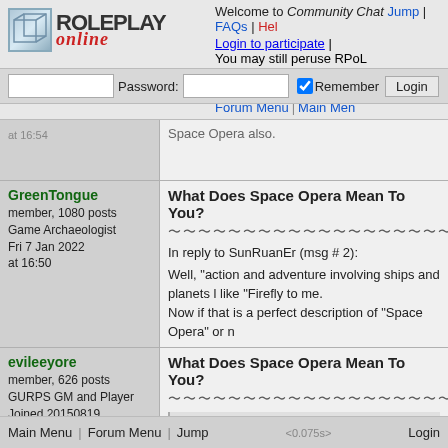Welcome to Community Chat  Jump | FAQs | Help
Login to participate |
You may still peruse RPoL
Forum Menu | Main Menu
at 16:54
Space Opera also.
GreenTongue
member, 1080 posts
Game Archaeologist
Fri 7 Jan 2022
at 16:50
What Does Space Opera Mean To You?
In reply to SunRuanEr (msg # 2):
Well, "action and adventure involving ships and planets like "Firefly to me.
Now if that is a perfect description of "Space Opera" or n
evileeyore
member, 626 posts
GURPS GM and Player
Joined 20150819
Fri 7 Jan 2022
at 18:25
What Does Space Opera Mean To You?
GreenTongue:
What does "Space Opera" mean to you and what do you feel a
For me "Space Opera" has a scope, scale, and focus tha

Scope:  While Space Opera often features a good amou conflict that matters most.  The journey the hero takes, t the backdrop conflict.  The original Original Star Wars a flop, Firefly was all about this, as was Killjoys (though I t was steeping in it.

Scale:  Vast, like westerns, time is spent between planet
Main Menu | Forum Menu | Jump                <0.075s>                Login